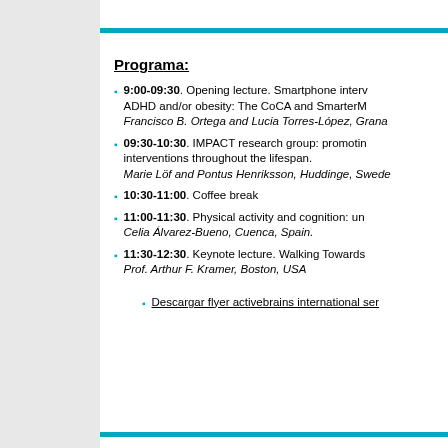Programa:
9:00-09:30. Opening lecture. Smartphone interv... ADHD and/or obesity: The CoCA and SmarterM... Francisco B. Ortega and Lucia Torres-López, Grana...
09:30-10:30. IMPACT research group: promoting interventions throughout the lifespan. Marie Löf and Pontus Henriksson, Huddinge, Swede...
10:30-11:00. Coffee break
11:00-11:30. Physical activity and cognition: un... Celia Álvarez-Bueno, Cuenca, Spain.
11:30-12:30. Keynote lecture. Walking Towards... Prof. Arthur F. Kramer, Boston, USA
Descargar flyer activebrains international ser...